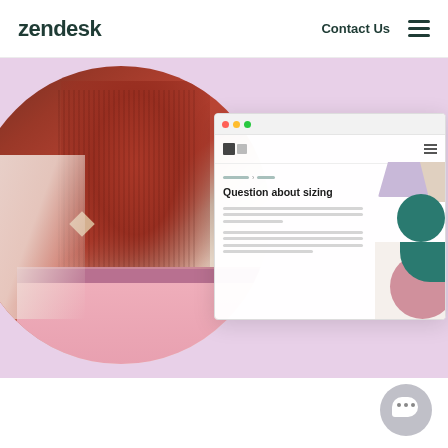zendesk | Contact Us
[Figure (screenshot): Zendesk website screenshot showing a hero section with a lavender/pink background. A circular photo of a red/burgundy knit sweater in a pink gift box is on the left. Overlapping on the right is a UI card mockup showing a customer support page titled 'Question about sizing' with decorative abstract shapes. A chat widget button appears in the bottom right corner.]